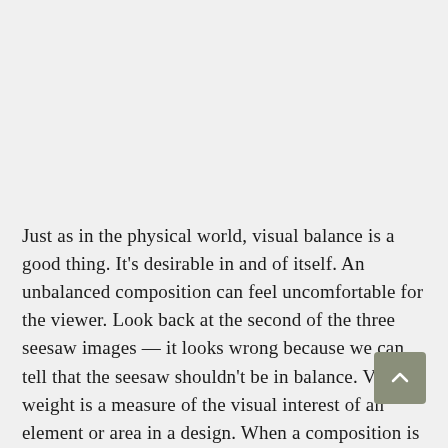Just as in the physical world, visual balance is a good thing. It's desirable in and of itself. An unbalanced composition can feel uncomfortable for the viewer. Look back at the second of the three seesaw images — it looks wrong because we can tell that the seesaw shouldn't be in balance. Visual weight is a measure of the visual interest of an element or area in a design. When a composition is visually balanced, every part of it holds some interest. The visual interest is balanced, which keeps viewers engaged with the design. Without visual balance, viewers might